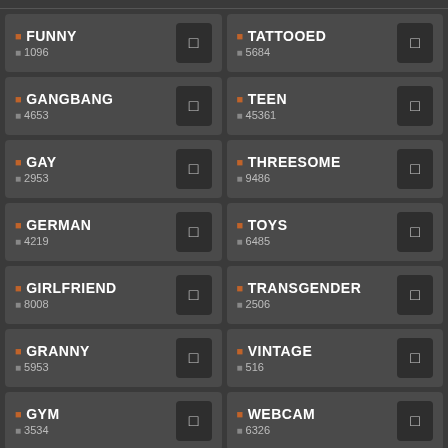FUNNY 1096
TATTOOED 5684
GANGBANG 4653
TEEN 45361
GAY 2953
THREESOME 9486
GERMAN 4219
TOYS 6485
GIRLFRIEND 8008
TRANSGENDER 2506
GRANNY 5953
VINTAGE 516
GYM 3534
WEBCAM 6326